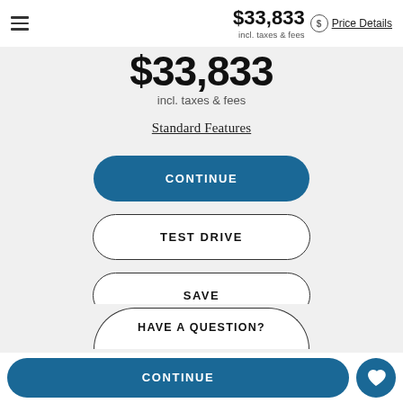$33,833 incl. taxes & fees | Price Details
$33,833
incl. taxes & fees
Standard Features
CONTINUE
TEST DRIVE
SAVE
HAVE A QUESTION?
CONTINUE